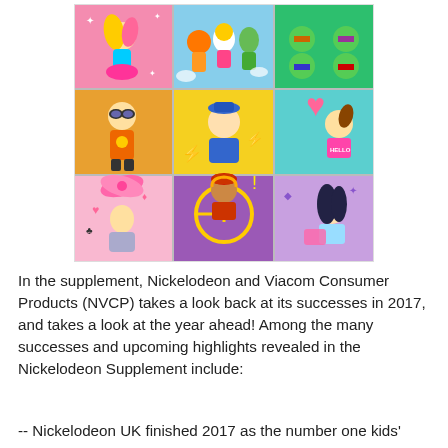[Figure (illustration): A colorful 3x3 grid of Nickelodeon cartoon and live-action character panels including animated heroes, children, and live-action kids talent, featuring characters from various Nickelodeon shows.]
In the supplement, Nickelodeon and Viacom Consumer Products (NVCP) takes a look back at its successes in 2017, and takes a look at the year ahead! Among the many successes and upcoming highlights revealed in the Nickelodeon Supplement include:
-- Nickelodeon UK finished 2017 as the number one kids'